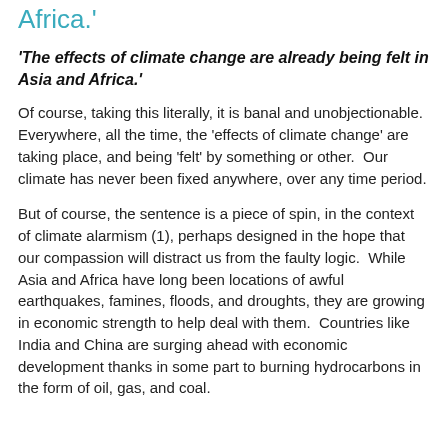Africa.'
'The effects of climate change are already being felt in Asia and Africa.'
Of course, taking this literally, it is banal and unobjectionable.  Everywhere, all the time, the 'effects of climate change' are taking place, and being 'felt' by something or other.  Our climate has never been fixed anywhere, over any time period.
But of course, the sentence is a piece of spin, in the context of climate alarmism (1), perhaps designed in the hope that our compassion will distract us from the faulty logic.  While Asia and Africa have long been locations of awful earthquakes, famines, floods, and droughts, they are growing in economic strength to help deal with them.  Countries like India and China are surging ahead with economic development thanks in some part to burning hydrocarbons in the form of oil, gas, and coal.